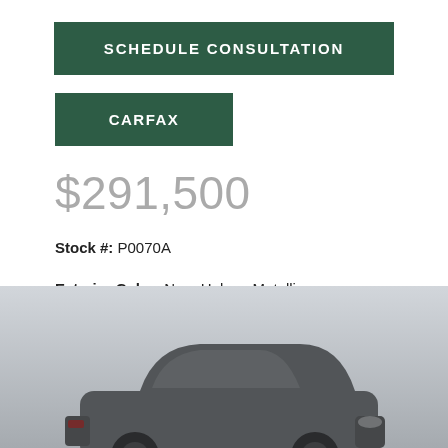SCHEDULE CONSULTATION
CARFAX
$291,500
Stock #: P0070A
Exterior Color: Nero Helene Metallic
Interior Color: Rosso Rea/Nero Ade
Miles: 18228
[Figure (photo): Partial view of a dark-colored luxury car photographed from the front-side angle against a light gray background]